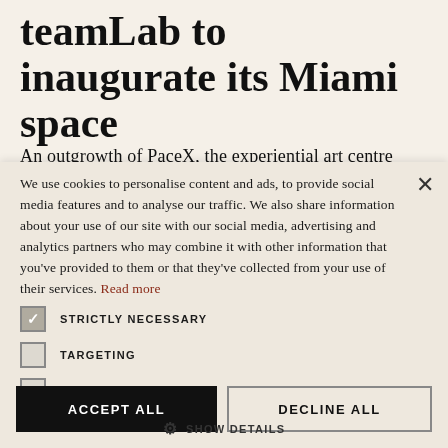teamLab to inaugurate its Miami space
An outgrowth of PaceX, the experiential art centre is the first in a series of planned venues that f…
We use cookies to personalise content and ads, to provide social media features and to analyse our traffic. We also share information about your use of our site with our social media, advertising and analytics partners who may combine it with other information that you've provided to them or that they've collected from your use of their services. Read more
STRICTLY NECESSARY
TARGETING
UNCLASSIFIED
ACCEPT ALL
DECLINE ALL
SHOW DETAILS